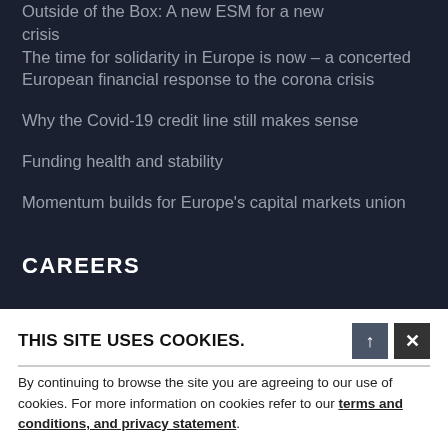Outside of the Box: A new ESM for a new crisis
The time for solidarity in Europe is now – a concerted European financial response to the corona crisis
Why the Covid-19 credit line still makes sense
Funding health and stability
Momentum builds for Europe's capital markets union
CAREERS
Featured jobs
THIS SITE USES COOKIES. By continuing to browse the site you are agreeing to our use of cookies. For more information on cookies refer to our terms and conditions, and privacy statement.